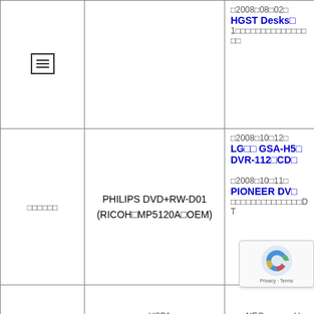| col1 | col2 | col3 |
| --- | --- | --- |
| ☰ (menu icon) |  | □2008□08□02□
HGST Desks□
1□□□□□□□□□□□□□□□□ |
| □□□□□□ | PHILIPS DVD+RW-D01
(RICOH□MP5120A□OEM) | □2008□10□12□
LG□□ GSA-H5□
DVR-112□CD□

□2008□10□11□
PIONEER DV□
□□□□□□□□□□□□□□DT |
| □□□□□□□□ | □□:□□□□□□□□□USB1□□□
□□:USB2□□□ | □□□NEC□□□□□□U□
□□□□□□USB□□□□□ |
| □□□□□□ | □□ | EIZO FlexSca□
3□□□□ |
|  |  | □2008□10□12□ |